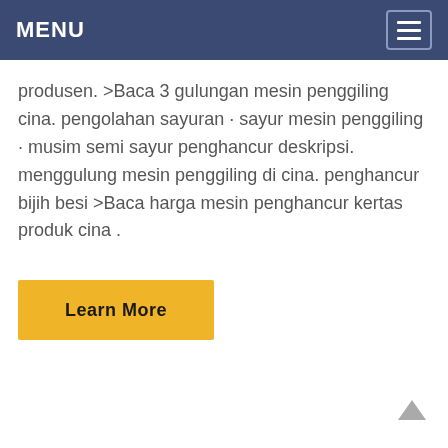MENU
produsen. >Baca 3 gulungan mesin penggiling cina. pengolahan sayuran · sayur mesin penggiling · musim semi sayur penghancur deskripsi. menggulung mesin penggiling di cina. penghancur bijih besi >Baca harga mesin penghancur kertas produk cina .
Learn More